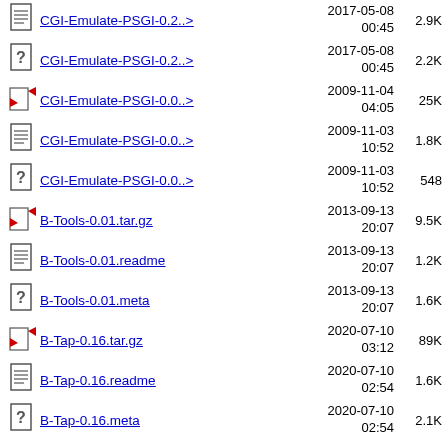CGI-Emulate-PSGI-0.2..> 2017-05-08 00:45 2.9K
CGI-Emulate-PSGI-0.2..> 2017-05-08 00:45 2.2K
CGI-Emulate-PSGI-0.0..> 2009-11-04 04:05 25K
CGI-Emulate-PSGI-0.0..> 2009-11-03 10:52 1.8K
CGI-Emulate-PSGI-0.0..> 2009-11-03 10:52 548
B-Tools-0.01.tar.gz 2013-09-13 20:07 9.5K
B-Tools-0.01.readme 2013-09-13 20:07 1.2K
B-Tools-0.01.meta 2013-09-13 20:07 1.6K
B-Tap-0.16.tar.gz 2020-07-10 03:12 89K
B-Tap-0.16.readme 2020-07-10 02:54 1.6K
B-Tap-0.16.meta 2020-07-10 02:54 2.1K
2015-05-01 (partial)